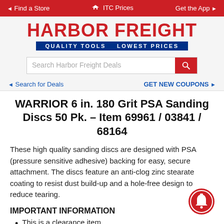◄ Find a Store   ◆ ITC Prices   Get the App ►
[Figure (logo): Harbor Freight Tools logo with red text and blue tagline 'QUALITY TOOLS LOWEST PRICES']
[Figure (screenshot): Search bar with placeholder 'Search Harbor Freight Deals' and red search button]
◄ Search for Deals   GET NEW COUPONS ►
WARRIOR 6 in. 180 Grit PSA Sanding Discs 50 Pk. – Item 69961 / 03841 / 68164
These high quality sanding discs are designed with PSA (pressure sensitive adhesive) backing for easy, secure attachment. The discs feature an anti-clog zinc stearate coating to resist dust build-up and a hole-free design to reduce tearing.
IMPORTANT INFORMATION
This is a clearance item.